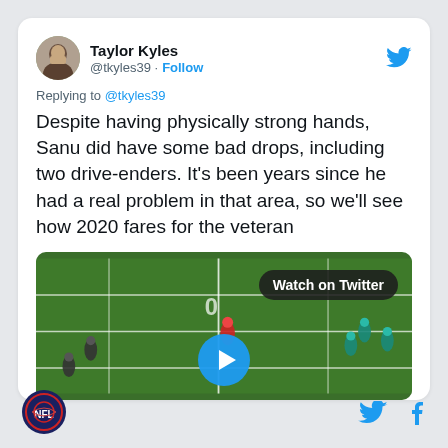Taylor Kyles @tkyles39 · Follow
Replying to @tkyles39
Despite having physically strong hands, Sanu did have some bad drops, including two drive-enders. It's been years since he had a real problem in that area, so we'll see how 2020 fares for the veteran
[Figure (screenshot): Football game video thumbnail with 'Watch on Twitter' badge and a play button overlay]
[Figure (logo): Sports site logo at bottom left]
[Figure (logo): Twitter and Facebook icons at bottom right]